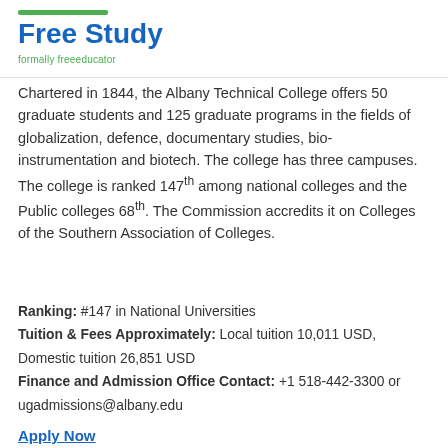Free Study / formally freeeducator
Chartered in 1844, the Albany Technical College offers 50 graduate students and 125 graduate programs in the fields of globalization, defence, documentary studies, bio-instrumentation and biotech. The college has three campuses. The college is ranked 147th among national colleges and the Public colleges 68th. The Commission accredits it on Colleges of the Southern Association of Colleges.
Ranking: #147 in National Universities
Tuition & Fees Approximately: Local tuition 10,011 USD, Domestic tuition 26,851 USD
Finance and Admission Office Contact: +1 518-442-3300 or ugadmissions@albany.edu
Apply Now